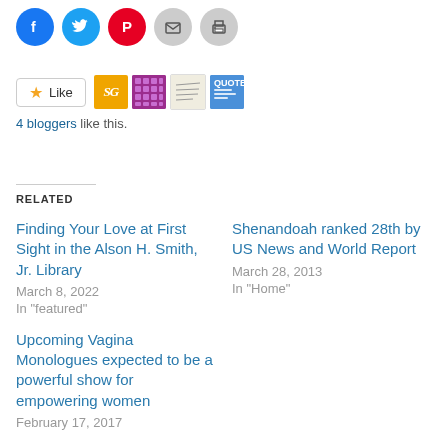[Figure (other): Social sharing icons: Facebook (blue circle), Twitter (blue circle), Pinterest (red circle), Email (grey circle), Print (grey circle)]
[Figure (other): WordPress Like button with star icon, followed by 4 blogger avatar thumbnails: SG (orange), purple pattern, handwriting/notes, blue quote template]
4 bloggers like this.
RELATED
Finding Your Love at First Sight in the Alson H. Smith, Jr. Library
March 8, 2022
In "featured"
Shenandoah ranked 28th by US News and World Report
March 28, 2013
In "Home"
Upcoming Vagina Monologues expected to be a powerful show for empowering women
February 17, 2017